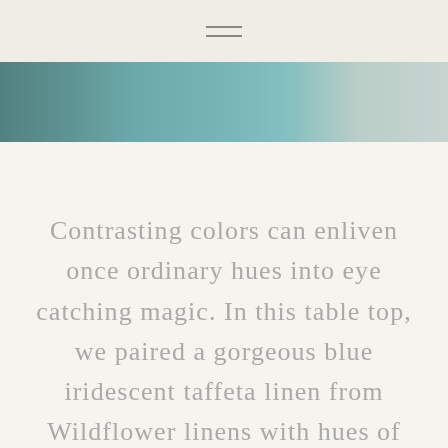≡
[Figure (photo): Partial view of a table setting with blue iridescent taffeta linen, cropped at top of page]
Contrasting colors can enliven once ordinary hues into eye catching magic. In this table top, we paired a gorgeous blue iridescent taffeta linen from Wildflower linens with hues of peach, blush, and gold for a